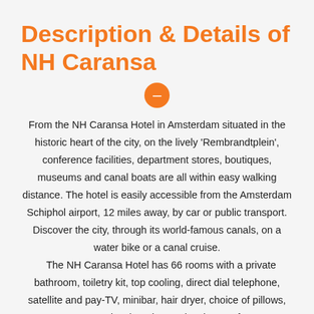Description & Details of NH Caransa
From the NH Caransa Hotel in Amsterdam situated in the historic heart of the city, on the lively 'Rembrandtplein', conference facilities, department stores, boutiques, museums and canal boats are all within easy walking distance. The hotel is easily accessible from the Amsterdam Schiphol airport, 12 miles away, by car or public transport. Discover the city, through its world-famous canals, on a water bike or a canal cruise. The NH Caransa Hotel has 66 rooms with a private bathroom, toiletry kit, top cooling, direct dial telephone, satellite and pay-TV, minibar, hair dryer, choice of pillows, room service, laundry service, iron on f...